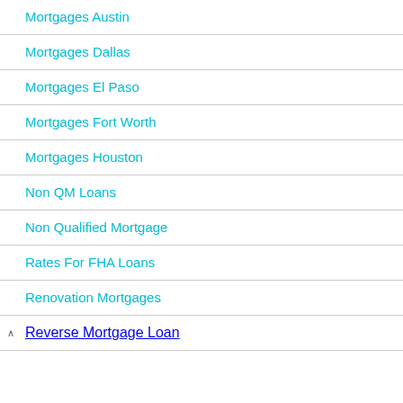Mortgages Austin
Mortgages Dallas
Mortgages El Paso
Mortgages Fort Worth
Mortgages Houston
Non QM Loans
Non Qualified Mortgage
Rates For FHA Loans
Renovation Mortgages
Reverse Mortgage Loan